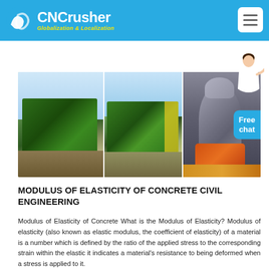CNCrusher Globalization & Localization
[Figure (photo): Three industrial crusher/mining machine photos side by side: green mobile crusher machines outdoors (two photos) and a large grey cone crusher machine indoors on the right.]
MODULUS OF ELASTICITY OF CONCRETE CIVIL ENGINEERING
Modulus of Elasticity of Concrete What is the Modulus of Elasticity? Modulus of elasticity (also known as elastic modulus, the coefficient of elasticity) of a material is a number which is defined by the ratio of the applied stress to the corresponding strain within the elastic it indicates a material's resistance to being deformed when a stress is applied to it.